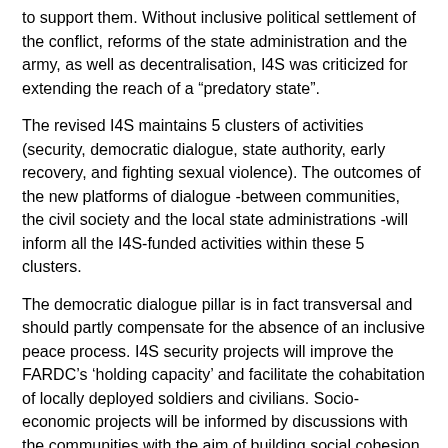to support them. Without inclusive political settlement of the conflict, reforms of the state administration and the army, as well as decentralisation, I4S was criticized for extending the reach of a “predatory state”.
The revised I4S maintains 5 clusters of activities (security, democratic dialogue, state authority, early recovery, and fighting sexual violence). The outcomes of the new platforms of dialogue -between communities, the civil society and the local state administrations -will inform all the I4S-funded activities within these 5 clusters.
The democratic dialogue pillar is in fact transversal and should partly compensate for the absence of an inclusive peace process. I4S security projects will improve the FARDC’s ‘holding capacity’ and facilitate the cohabitation of locally deployed soldiers and civilians. Socio-economic projects will be informed by discussions with the communities with the aim of building social cohesion in areas of return and refuge.
During the workshops it was decided to focus the ‘state